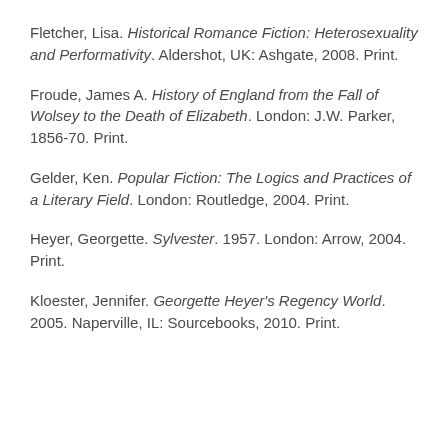Fletcher, Lisa. Historical Romance Fiction: Heterosexuality and Performativity. Aldershot, UK: Ashgate, 2008. Print.
Froude, James A. History of England from the Fall of Wolsey to the Death of Elizabeth. London: J.W. Parker, 1856-70. Print.
Gelder, Ken. Popular Fiction: The Logics and Practices of a Literary Field. London: Routledge, 2004. Print.
Heyer, Georgette. Sylvester. 1957. London: Arrow, 2004. Print.
Kloester, Jennifer. Georgette Heyer's Regency World. 2005. Naperville, IL: Sourcebooks, 2010. Print.